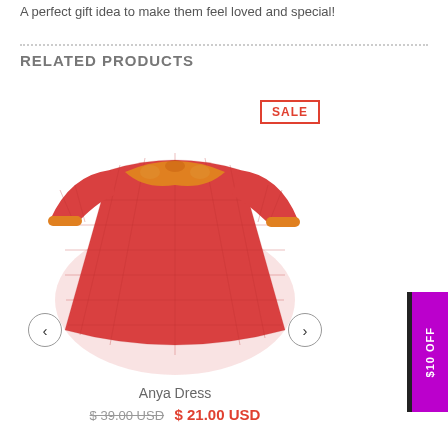A perfect gift idea to make them feel loved and special!
RELATED PRODUCTS
[Figure (photo): Red checkered children's dress with orange floral collar, long sleeves, A-line shape, displayed on white background. A SALE badge is shown in the top right of the image area. Left and right navigation arrows (< >) are present on the sides.]
Anya Dress
$ 39.00 USD  $ 21.00 USD